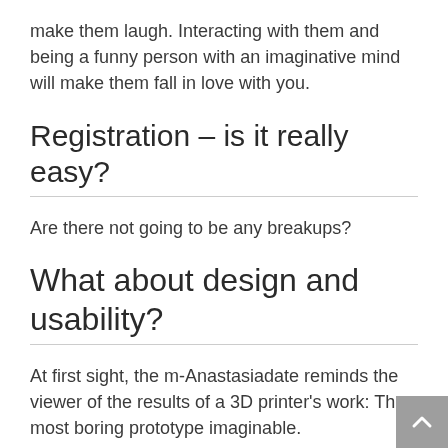make them laugh. Interacting with them and being a funny person with an imaginative mind will make them fall in love with you.
Registration – is it really easy?
Are there not going to be any breakups?
What about design and usability?
At first sight, the m-Anastasiadate reminds the viewer of the results of a 3D printer's work: The most boring prototype imaginable.
Nonetheless, we have really been interested in Anastasiadate site. As you know that we